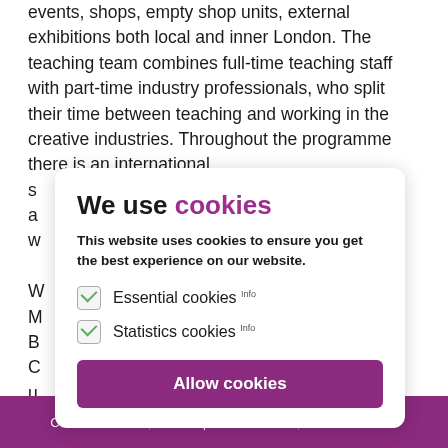events, shops, empty shop units, external exhibitions both local and inner London. The teaching team combines full-time teaching staff with part-time industry professionals, who split their time between teaching and working in the creative industries. Throughout the programme there is an international s... nd a... ries. W... isual M... B... ce'. C... u... ve t... s...
We use cookies
This website uses cookies to ensure you get the best experience on our website.
Essential cookies Info
Statistics cookies Info
Allow cookies
Courses | Help & Advice | Contact